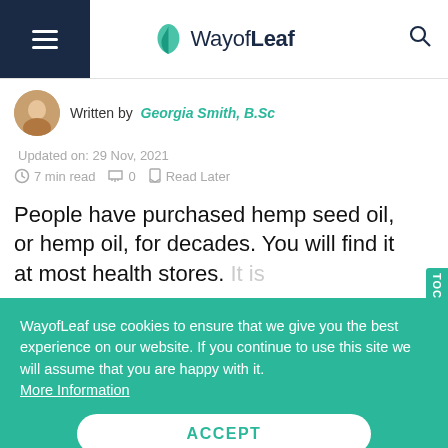WayofLeaf
Written by Georgia Smith, B.Sc
Updated on: 29 Nov, 2021
7 min read  0  Read Later
People have purchased hemp seed oil, or hemp oil, for decades. You will find it at most health stores. It is
WayofLeaf use cookies to ensure that we give you the best experience on our website. If you continue to use this site we will assume that you are happy with it. More Information
ACCEPT
focuses on scientific research into how hemp se